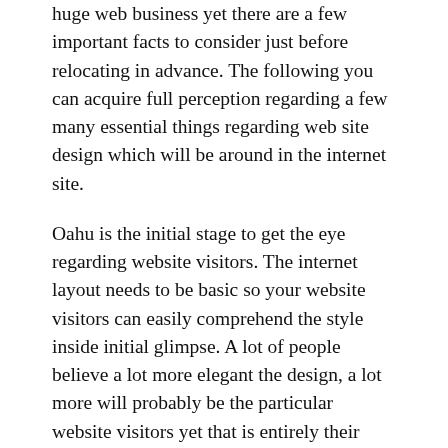huge web business yet there are a few important facts to consider just before relocating in advance. The following you can acquire full perception regarding a few many essential things regarding web site design which will be around in the internet site.
Oahu is the initial stage to get the eye regarding website visitors. The internet layout needs to be basic so your website visitors can easily comprehend the style inside initial glimpse. A lot of people believe a lot more elegant the design, a lot more will probably be the particular website visitors yet that is entirely their particular false impression. The key aim regarding web site design is always to offer full details on the subject they will are seeking and a lot folks constantly favor regarding basic sites. Merely examine a number of the largest sites on earth, virtually all sites have got basic models.